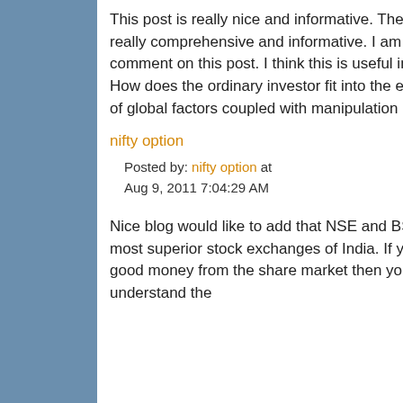This post is really nice and informative. The explanation given is really comprehensive and informative. I am feeling happy to comment on this post. I think this is useful information for users-How does the ordinary investor fit into the equation comprising of global factors coupled with manipulation in the stock markets.
nifty option
Posted by: nifty option at Aug 9, 2011 7:04:29 AM
Nice blog would like to add that NSE and BSE are one of the most superior stock exchanges of India. If you wish to earn good money from the share market then you need to understand the